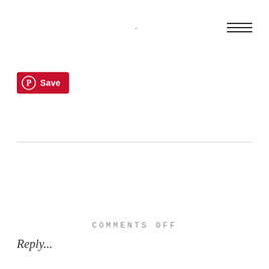[Figure (logo): Hamburger menu icon — three horizontal lines, top right corner]
[Figure (logo): Pinterest Save button — red rounded rectangle with Pinterest circle logo and white 'Save' text]
COMMENTS OFF
Reply...